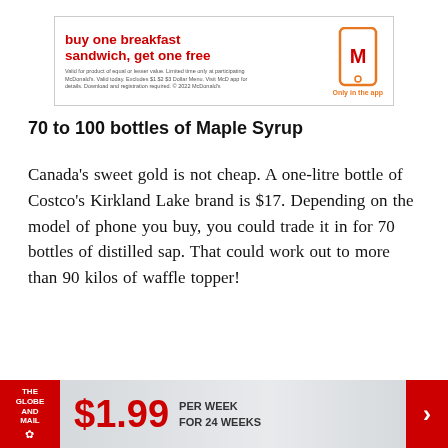[Figure (infographic): McDonald's advertisement banner: 'buy one breakfast sandwich, get one free' with fine print about participating locations, valid today, excludes $1 $2 $3 Dollar Menu. McDonald's golden arches logo on a yellow phone shape with text 'Only in the app'.]
70 to 100 bottles of Maple Syrup
Canada's sweet gold is not cheap. A one-litre bottle of Costco's Kirkland Lake brand is $17. Depending on the model of phone you buy, you could trade it in for 70 bottles of distilled sap. That could work out to more than 90 kilos of waffle topper!
[Figure (infographic): The Globe and Mail subscription banner: logo on red background, '$1.99 PER WEEK FOR 24 WEEKS' offer with red arrow chevron on the right.]